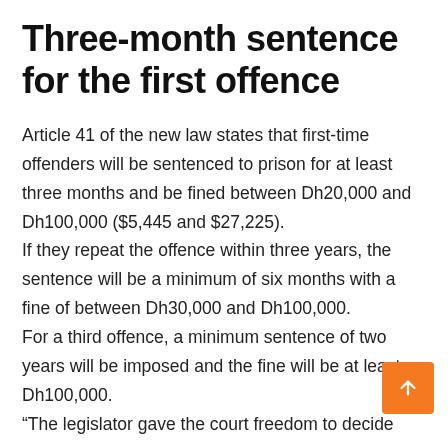Three-month sentence for the first offence
Article 41 of the new law states that first-time offenders will be sentenced to prison for at least three months and be fined between Dh20,000 and Dh100,000 ($5,445 and $27,225).
If they repeat the offence within three years, the sentence will be a minimum of six months with a fine of between Dh30,000 and Dh100,000.
For a third offence, a minimum sentence of two years will be imposed and the fine will be at least Dh100,000.
“The legislator gave the court freedom to decide penalty between either imprisonment or fine in t…t